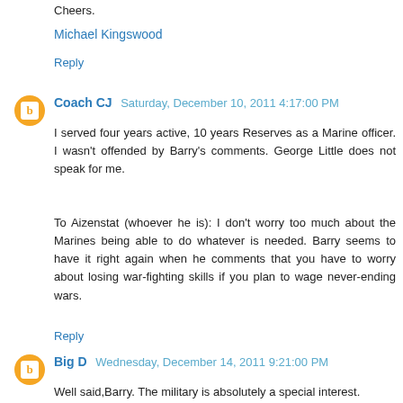Cheers.
Michael Kingswood
Reply
Coach CJ  Saturday, December 10, 2011 4:17:00 PM
I served four years active, 10 years Reserves as a Marine officer. I wasn't offended by Barry's comments. George Little does not speak for me.
To Aizenstat (whoever he is): I don't worry too much about the Marines being able to do whatever is needed. Barry seems to have it right again when he comments that you have to worry about losing war-fighting skills if you plan to wage never-ending wars.
Reply
Big D  Wednesday, December 14, 2011 9:21:00 PM
Well said,Barry. The military is absolutely a special interest.